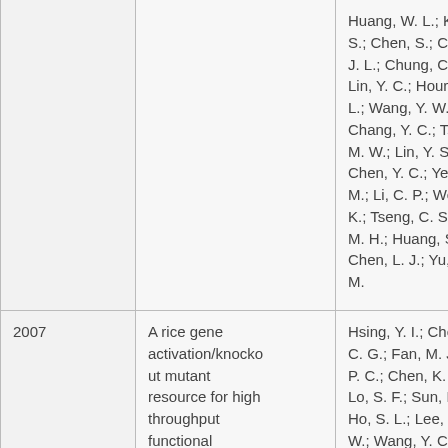| Year | Title | Authors |
| --- | --- | --- |
|  |  | Huang, W. L.; Ko S.; Chen, S.; Che J. L.; Chung, C. I. Lin, Y. C.; Hour, A L.; Wang, Y. W.; Chang, Y. C.; Tsa M. W.; Lin, Y. S.; Chen, Y. C.; Yen, M.; Li, C. P.; Wey K.; Tseng, C. S.; L M. H.; Huang, S. Chen, L. J.; Yu, S. M. |
| 2007 | A rice gene activation/knockout mutant resource for high throughput functional | Hsing, Y. I.; Cher C. G.; Fan, M. J.; P. C.; Chen, K. T.; Lo, S. F.; Sun, P. ( Ho, S. L.; Lee, K. W.; Wang, Y. C.; |